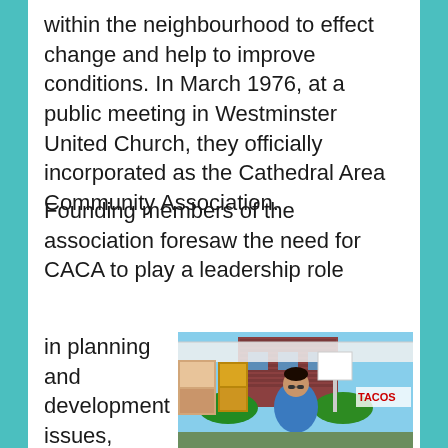within the neighbourhood to effect change and help to improve conditions. In March 1976, at a public meeting in Westminster United Church, they officially incorporated as the Cathedral Area Community Association.
Founding members of the association foresaw the need for CACA to play a leadership role
in planning and development issues, advocacy, information
[Figure (photo): A man wearing sunglasses and a blue shirt at an outdoor community event or art fair, with paintings/artwork displayed on panels behind him and a white tent canopy visible. A brick building is in the background.]